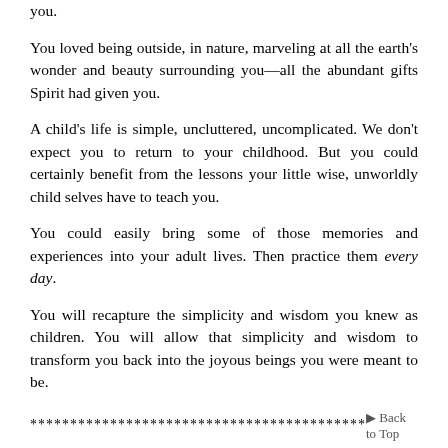family, your pets, your friends, all living creatures around you.
You loved being outside, in nature, marveling at all the earth's wonder and beauty surrounding you—all the abundant gifts Spirit had given you.
A child's life is simple, uncluttered, uncomplicated. We don't expect you to return to your childhood. But you could certainly benefit from the lessons your little wise, unworldly child selves have to teach you.
You could easily bring some of those memories and experiences into your adult lives. Then practice them every day.
You will recapture the simplicity and wisdom you knew as children. You will allow that simplicity and wisdom to transform you back into the joyous beings you were meant to be.
******************************************   Back to Top
Here's writer and designer Graham Hill talking about downsizing and simplifying our lives. As he says in